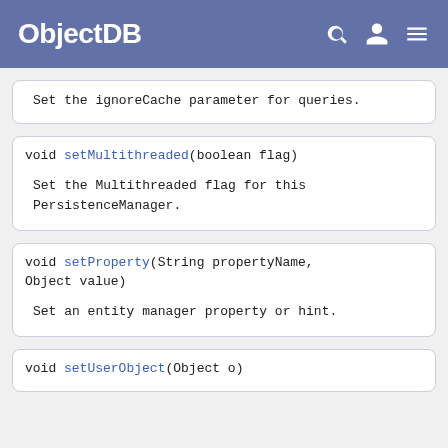ObjectDB
Set the ignoreCache parameter for queries.
void setMultithreaded(boolean flag)

Set the Multithreaded flag for this PersistenceManager.
void setProperty(String propertyName, Object value)

Set an entity manager property or hint.
void setUserObject(Object o)